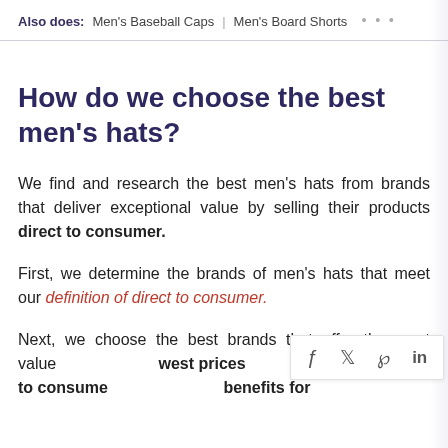Also does: Men's Baseball Caps | Men's Board Shorts ...
How do we choose the best men's hats?
We find and research the best men's hats from brands that deliver exceptional value by selling their products direct to consumer.
First, we determine the brands of men's hats that meet our definition of direct to consumer.
Next, we choose the best brands that offer the most value [by providing the lo]west prices to consume[rs and other b]enefits for [...]